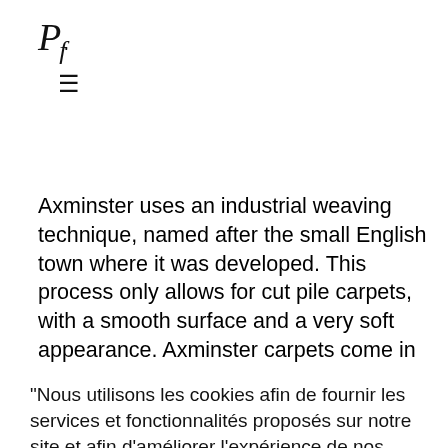Pf. ≡
Axminster uses an industrial weaving technique, named after the small English town where it was developed. This process only allows for cut pile carpets, with a smooth surface and a very soft appearance. Axminster carpets come in different pile weights per square meter, which adds to the quality of this high end weave. A large number of patterns can also be created by incorporating coloured
"Nous utilisons les cookies afin de fournir les services et fonctionnalités proposés sur notre site et afin d'améliorer l'expérience de nos utilisateurs. Les cookies sont des données qui sont téléchargés ou stockés sur votre ordinateur ou sur tout autre appareil."
Réglages des cookies    ACCEPTER